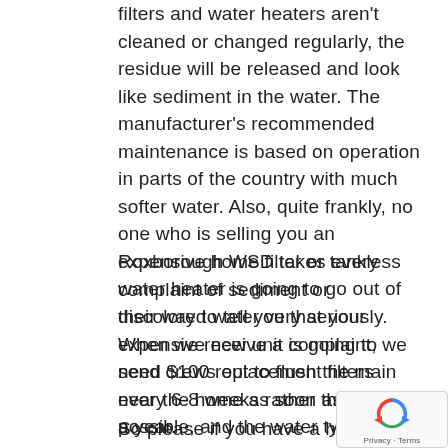filters and water heaters aren't cleaned or changed regularly, the residue will be released and look like sediment in the water. The manufacturer's recommended maintenance is based on operation in parts of the country with much softer water. Also, quite frankly, no one who is selling you an expensive home filter or tankless water heater is going to go out of their way to tell you that your expensive new unit is going to need $100 replacement filters every 6-8 weeks rather than once a year.
Roxborough WSD takes every complaint of sediment or discolored water very seriously. When we receive a complaint, we send crews out to flush the main near the home as soon as possible, and the water typically runs crystal clear.
So please if you have a home filter, change your